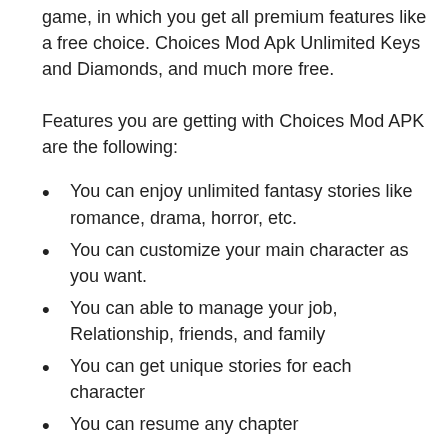game, in which you get all premium features like a free choice. Choices Mod Apk Unlimited Keys and Diamonds, and much more free.
Features you are getting with Choices Mod APK are the following:
You can enjoy unlimited fantasy stories like romance, drama, horror, etc.
You can customize your main character as you want.
You can able to manage your job, Relationship, friends, and family
You can get unique stories for each character
You can resume any chapter
You can get access to the newly released chapter
You can get the best collection of stories according to